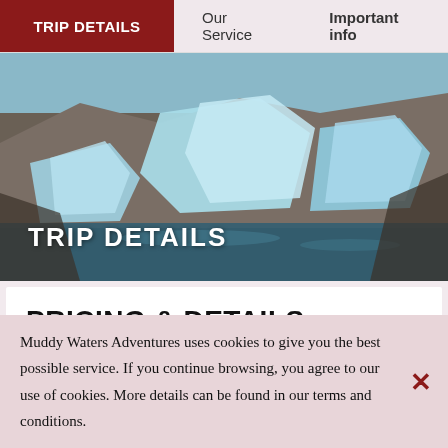TRIP DETAILS | Our Service | Important info
[Figure (photo): Hero photograph of large blue glacial ice chunks resting near rocky terrain with water in the foreground]
TRIP DETAILS
PRICING & DETAILS
Price
*Prices are a boat-rate, not per passenger, unless
Muddy Waters Adventures uses cookies to give you the best possible service. If you continue browsing, you agree to our use of cookies. More details can be found in our terms and conditions.